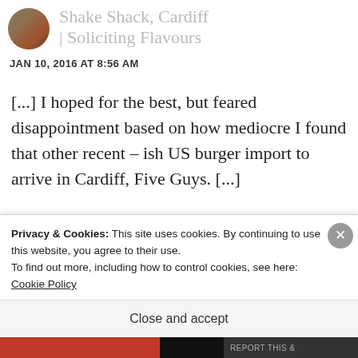Shake Shack, Cardiff | Soliciting Flavours
JAN 10, 2016 AT 8:56 AM
[...] I hoped for the best, but feared disappointment based on how mediocre I found that other recent – ish US burger import to arrive in Cardiff, Five Guys. [...]
Like
Privacy & Cookies: This site uses cookies. By continuing to use this website, you agree to their use.
To find out more, including how to control cookies, see here: Cookie Policy
Close and accept